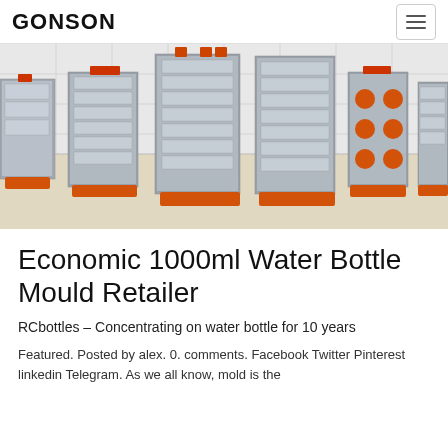GONSON
[Figure (photo): Multiple industrial plastic bottle injection molds arranged in a row on an orange-footed display stand in a factory/showroom setting. The molds are metallic silver with orange accents and vary in size.]
Economic 1000ml Water Bottle Mould Retailer
RCbottles – Concentrating on water bottle for 10 years
Featured. Posted by alex. 0. comments. Facebook Twitter Pinterest linkedin Telegram. As we all know, mold is the